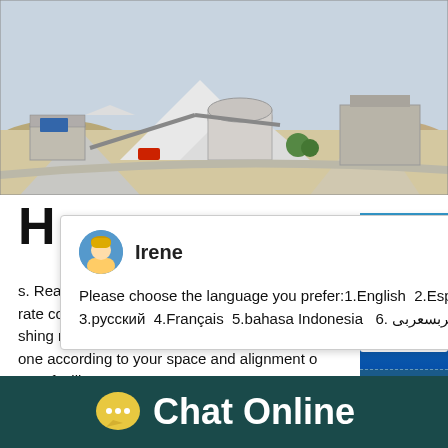[Figure (photo): Aerial view of a mining/quarrying industrial site with large white/grey aggregate piles, circular silo structure, conveyor belts, and industrial buildings]
s. Ready to Ship. $2,100.00-$2,796.00 / Set. rate coal crush machin. $1,500.00-$3,500.00 shing machine ascertain that you can conveni one according to your space and alignment o your facility ...
[Figure (screenshot): Live chat popup from Irene: Please choose the language you prefer:1.English 2.Español 3.русский 4.Français 5.bahasa Indonesia 6. عربسعربی]
[Figure (screenshot): Right-side chat widget with emoji, badge showing 1, Click me to chat button, and Enquiry button]
[Figure (screenshot): Chat Online button bar with yellow speech bubble icon on dark teal background]